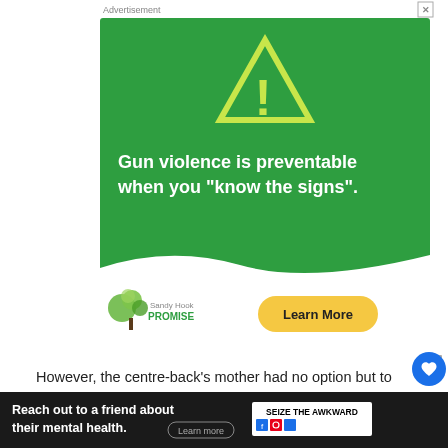[Figure (infographic): Sandy Hook Promise advertisement: green background with yellow warning triangle and exclamation mark, text 'Gun violence is preventable when you "know the signs".', Sandy Hook Promise logo, and Learn More button]
However, the centre-back's mother had no option but to give him her support since he did not change his mind about his aspirations.
About Simon Kjaer's Siblings:
[Figure (infographic): Bottom advertisement bar: 'Reach out to a friend about their mental health. Learn more' with SEIZE THE AWKWARD badge]
He ... Danish ...